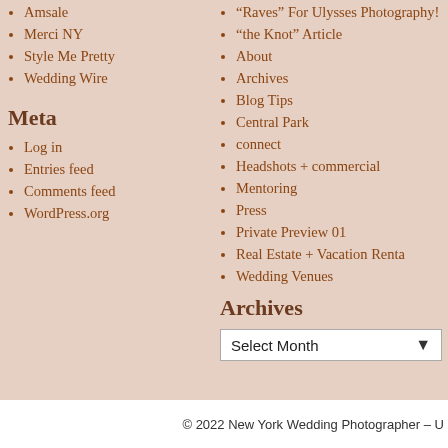Amsale
Merci NY
Style Me Pretty
Wedding Wire
Meta
Log in
Entries feed
Comments feed
WordPress.org
“Raves” For Ulysses Photography!
“the Knot” Article
About
Archives
Blog Tips
Central Park
connect
Headshots + commercial
Mentoring
Press
Private Preview 01
Real Estate + Vacation Renta
Wedding Venues
Archives
Select Month
© 2022 New York Wedding Photographer – U